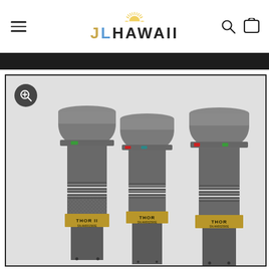JLHAWAII — navigation header with menu, logo, search and cart icons
[Figure (photo): Three THOR / THOR II tactical flashlights in gunmetal gray with gold-colored bands at the base showing model names and serial numbers. Each flashlight has colored indicator dots (green, red, teal) on the body. Left unit is labeled THOR II, center and right units are labeled THOR.]